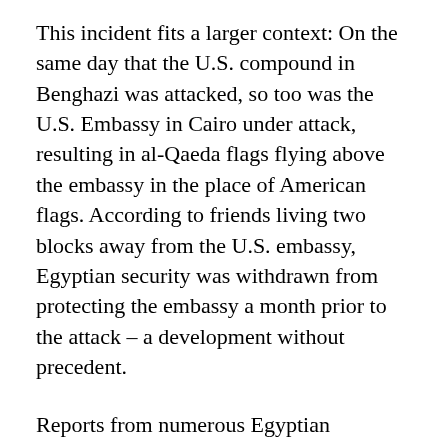This incident fits a larger context: On the same day that the U.S. compound in Benghazi was attacked, so too was the U.S. Embassy in Cairo under attack, resulting in al-Qaeda flags flying above the embassy in the place of American flags. According to friends living two blocks away from the U.S. embassy, Egyptian security was withdrawn from protecting the embassy a month prior to the attack – a development without precedent.
Reports from numerous Egyptian dissidents at that time, which included prominent Egyptian dissident Wael Abbas on his twitter account, stated that the people surrounding the U.S. embassy in